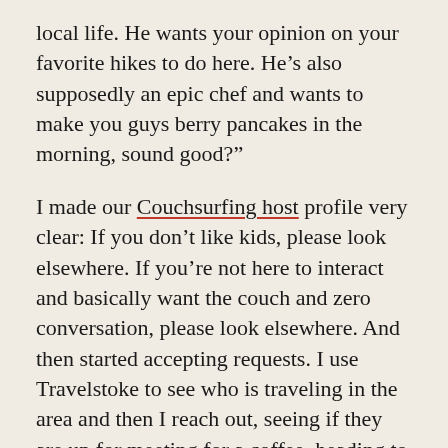local life. He wants your opinion on your favorite hikes to do here. He’s also supposedly an epic chef and wants to make you guys berry pancakes in the morning, sound good?”
I made our Couchsurfing host profile very clear: If you don’t like kids, please look elsewhere. If you’re not here to interact and basically want the couch and zero conversation, please look elsewhere. And then started accepting requests. I use Travelstoke to see who is traveling in the area and then I reach out, seeing if they are up for meeting for a coffee, heading to the artists market, or coming over for dinner.
“In one experience, gay people